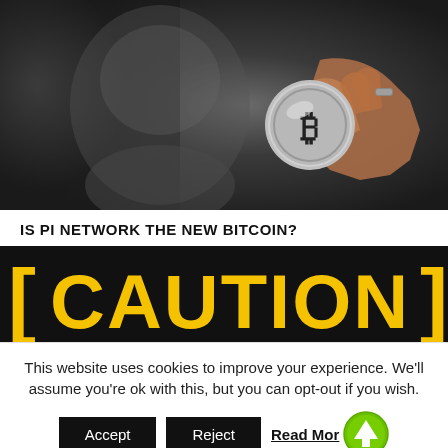[Figure (photo): A blurred man holding up a silver Bitcoin coin toward the camera, dark background.]
IS PI NETWORK THE NEW BITCOIN?
[Figure (infographic): Black background banner with large yellow bold text reading CAUTION, flanked by yellow bracket symbols on left and right.]
This website uses cookies to improve your experience. We'll assume you're ok with this, but you can opt-out if you wish.
Accept   Reject   Read More